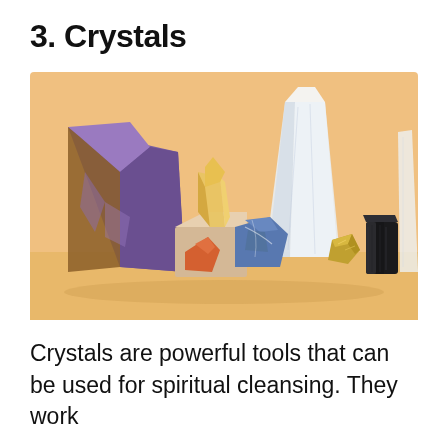3. Crystals
[Figure (photo): A photograph of various crystals and gemstones arranged on a warm beige/peach background. Includes a large amethyst geode slice (purple and brown), clear quartz crystal point, small citrine cluster on a cube stand, blue sodalite chunk, orange carnelian piece, small pyrite nugget, black tourmaline column, and another clear quartz wand on the right. The stones are set on a pale orange-sand colored surface.]
Crystals are powerful tools that can be used for spiritual cleansing. They work